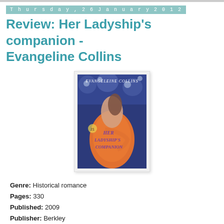Thursday, 26 January 2012
Review: Her Ladyship's companion - Evangeline Collins
[Figure (photo): Book cover of 'Her Ladyship's Companion' by Evangeline Collins, showing a historical romance scene with a couple in period costume against a blue floral background. The title is displayed in ornate lettering.]
Genre: Historical romance
Pages: 330
Published: 2009
Publisher: Berkley
Source: Bought
In the Scottish countryside of Galhigh, Lady Isabella Stirling resides at Bowhill...